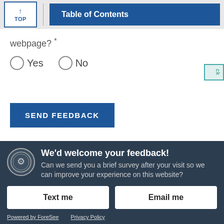TOP | Table of Contents
webpage? *
Yes
No
SEND FEEDBACK
We'd welcome your feedback! Can we send you a brief survey after your visit so we can improve your experience on this website?
Text me
Email me
Powered by ForeSee   Privacy Policy